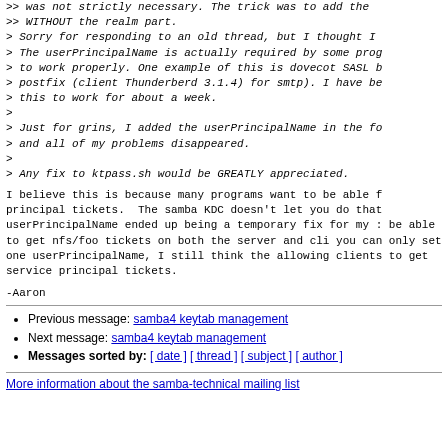>> was not strictly necessary. The trick was to add the
>> WITHOUT the realm part.
> Sorry for responding to an old thread, but I thought I
> The userPrincipalName is actually required by some prog
> to work properly. One example of this is dovecot SASL b
> postfix (client Thunderberd 3.1.4) for smtp). I have be
> this to work for about a week.
>
> Just for grins, I added the userPrincipalName in the fo
> and all of my problems disappeared.
>
> Any fix to ktpass.sh would be GREATLY appreciated.
I believe this is because many programs want to be able f
principal tickets.  The samba KDC doesn't let you do that
userPrincipalName ended up being a temporary fix for my :
be able to get nfs/foo tickets on both the server and cli
you can only set one userPrincipalName, I still think the
allowing clients to get service principal tickets.
-Aaron
Previous message: samba4 keytab management
Next message: samba4 keytab management
Messages sorted by: [ date ] [ thread ] [ subject ] [ author ]
More information about the samba-technical mailing list